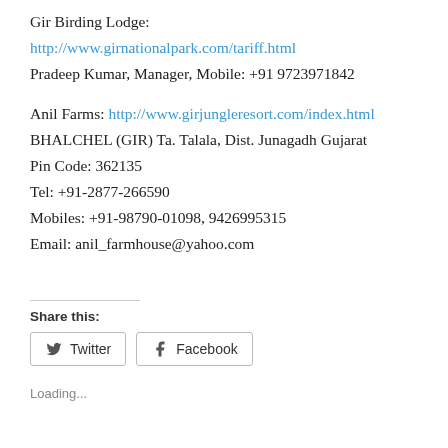Gir Birding Lodge:
http://www.girnationalpark.com/tariff.html
Pradeep Kumar, Manager, Mobile: +91 9723971842
Anil Farms: http://www.girjungleresort.com/index.html
BHALCHEL (GIR) Ta. Talala, Dist. Junagadh Gujarat
Pin Code: 362135
Tel: +91-2877-266590
Mobiles: +91-98790-01098, 9426995315
Email: anil_farmhouse@yahoo.com
Share this:
Twitter  Facebook
Loading...